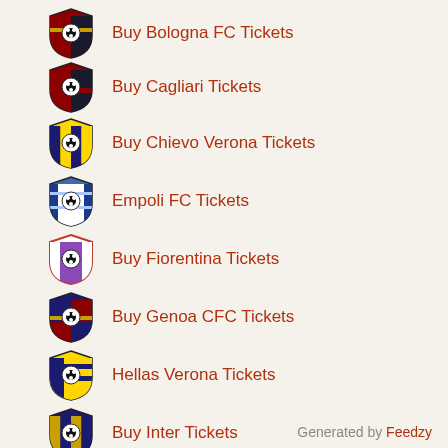Buy Bologna FC Tickets
Buy Cagliari Tickets
Buy Chievo Verona Tickets
Empoli FC Tickets
Buy Fiorentina Tickets
Buy Genoa CFC Tickets
Hellas Verona Tickets
Buy Inter Tickets
Generated by Feedzy